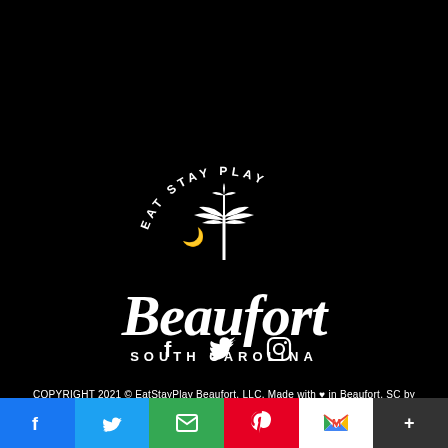[Figure (logo): EatStayPlay Beaufort South Carolina logo with palm tree and crescent moon, white on black background]
[Figure (infographic): Social media icons: Facebook (f), Twitter (bird), Instagram (camera)]
COPYRIGHT 2021 © EatStayPlay Beaufort, LLC. Made with ♥ in Beaufort, SC by
[Figure (infographic): Share bar with colored social media buttons: Facebook (blue), Twitter (light blue), Email (green), Pinterest (red), Gmail (white/red M), More (dark gray +)]